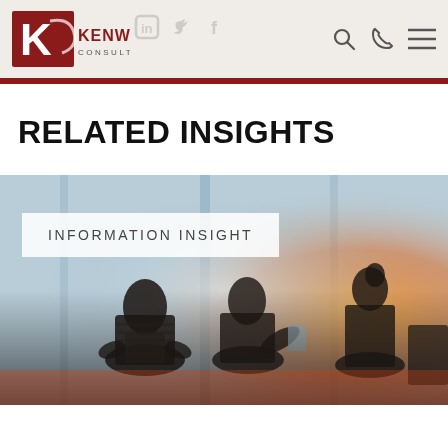[Figure (logo): Kenway Consulting logo with red K icon and company name]
RELATED INSIGHTS
[Figure (photo): Silhouettes of business professionals sitting at a meeting table with bright backlight and warm orange tones, with an overlay label reading INFORMATION INSIGHT]